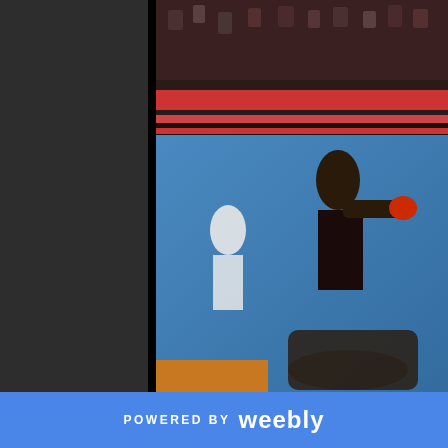[Figure (photo): Boxing match photo showing Evander Holyfield flooring Mike Tyson in a boxing ring with blue canvas and red ropes, crowd visible in background]
Evander Holyfield floors Mike T
In November 1996, Evander H Tyson. The fight was the secon resulted in what is now known ago today.
This was the first major boxing that time on, I was hooked on h how these two gladiators found
POWERED BY weebly